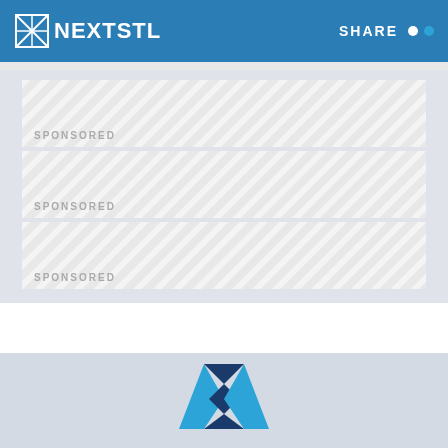NEXTSTL | SHARE
[Figure (other): Sponsored content placeholder block 1 with diagonal stripe pattern]
[Figure (other): Sponsored content placeholder block 2 with diagonal stripe pattern]
[Figure (other): Sponsored content placeholder block 3 with diagonal stripe pattern]
[Figure (logo): NextSTL logo mark in blue and dark navy, centered in footer area]